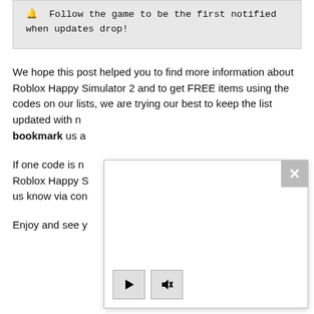🔔 Follow the game to be the first notified when updates drop!
We hope this post helped you to find more information about Roblox Happy Simulator 2 and to get FREE items using the codes on our lists, we are trying our best to keep the list updated with new codes, so make sure to bookmark us and visit us often.
If one code is not working it means that the Roblox Happy Simulator 2 code has expired, please let us know via contact page.
Enjoy and see you in the next post!
[Figure (screenshot): A white overlay/modal dialog with a grey X close button in the top-right corner and two control buttons (play and mute) in the bottom-left corner.]